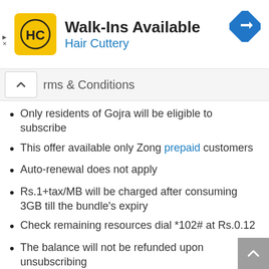[Figure (logo): Hair Cuttery advertisement banner with HC logo, text 'Walk-Ins Available' and 'Hair Cuttery', and a navigation arrow icon]
rms & Conditions
Only residents of Gojra will be eligible to subscribe
This offer available only Zong prepaid customers
Auto-renewal does not apply
Rs.1+tax/MB will be charged after consuming 3GB till the bundle's expiry
Check remaining resources dial *102# at Rs.0.12
The balance will not be refunded upon unsubscribing